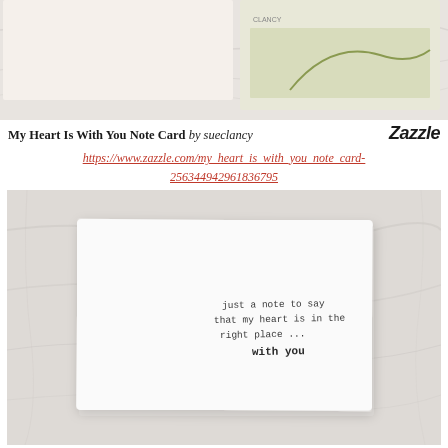[Figure (photo): Top portion of a Zazzle product listing showing a note card with an illustration — partly cropped at top, marble background visible]
My Heart Is With You Note Card by sueclancy   Zazzle
https://www.zazzle.com/my_heart_is_with_you_note_card-256344942961836795
[Figure (photo): Photo of the inside of a greeting card placed on a marble surface. The card reads: just a note to say that my heart is in the right place ... with you]